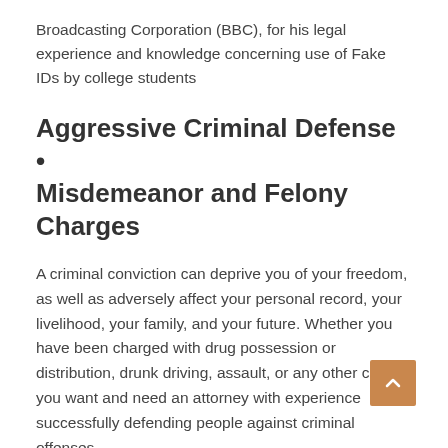Broadcasting Corporation (BBC), for his legal experience and knowledge concerning use of Fake IDs by college students
Aggressive Criminal Defense • Misdemeanor and Felony Charges
A criminal conviction can deprive you of your freedom, as well as adversely affect your personal record, your livelihood, your family, and your future. Whether you have been charged with drug possession or distribution, drunk driving, assault, or any other crime, you want and need an attorney with experience successfully defending people against criminal offenses.
As a College Park criminal defense attorney, with more than 37 years of experience successfully defending persons charged with nearly every possible criminal offense, I can